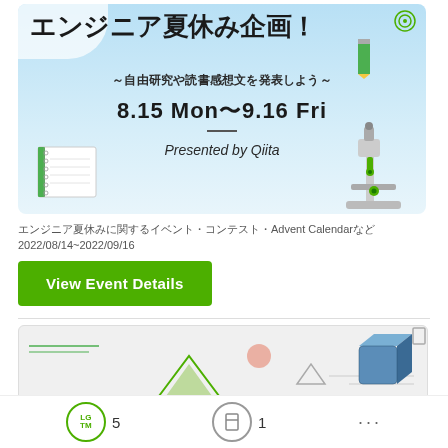[Figure (illustration): Banner image for Qiita engineer summer holiday event. Blue sky background with clouds. Large Japanese bold text: エンジニア夏休み企画！ Subtitle: ～自由研究や読書感想文を発表しよう～ Date: 8.15 Mon ~ 9.16 Fri. Presented by Qiita. Decorative elements: notebook, microscope, pencil, target icon.]
エンジニア夏休みに関するイベント・コンテスト・Advent Calendarなど
2022/08/14~2022/09/16
View Event Details
[Figure (illustration): Partial second event banner with geometric shapes: green triangle wireframe, pink circle, small grey triangle, blue 3D box, grey rectangles on light grey background.]